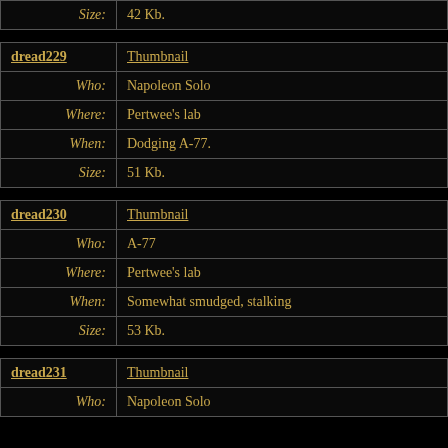| ID | Link | Field | Value |
| --- | --- | --- | --- |
|  |  | Size: | 42 Kb. |
| dread229 | Thumbnail |  |  |
|  |  | Who: | Napoleon Solo |
|  |  | Where: | Pertwee's lab |
|  |  | When: | Dodging A-77. |
|  |  | Size: | 51 Kb. |
| dread230 | Thumbnail |  |  |
|  |  | Who: | A-77 |
|  |  | Where: | Pertwee's lab |
|  |  | When: | Somewhat smudged, stalking |
|  |  | Size: | 53 Kb. |
| dread231 | Thumbnail |  |  |
|  |  | Who: | Napoleon Solo |